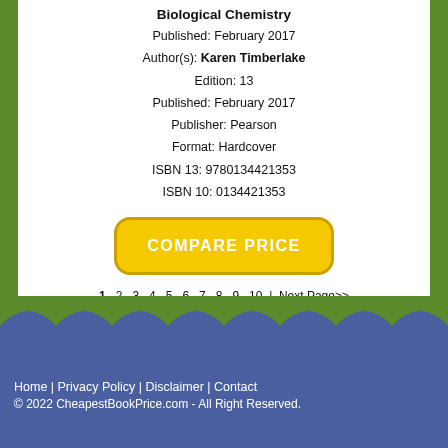Biological Chemistry
Published: February 2017
Author(s): Karen Timberlake
Edition: 13
Published: February 2017
Publisher: Pearson
Format: Hardcover
ISBN 13: 9780134421353
ISBN 10: 0134421353
COMPARE PRICE
1 · 2 · 3 · 4 · 5 · 6 · 7 · 8 · 9 · 10 | Next Page>>
Home | Privacy Policy | Disclaimer | Contact
© 2022 CheapestBookPrice.com - All Right Reserved.